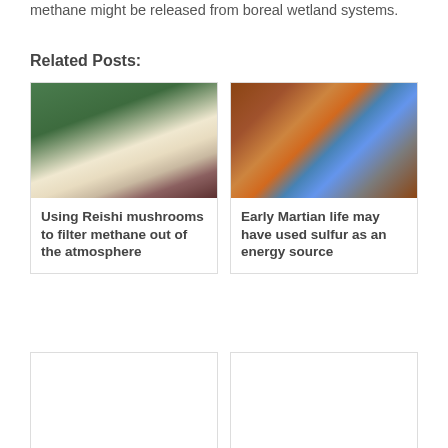methane might be released from boreal wetland systems.
Related Posts:
[Figure (photo): Reishi mushrooms stacked on top of each other with a blurred green background]
Using Reishi mushrooms to filter methane out of the atmosphere
[Figure (photo): Close-up aerial or satellite image of Mars surface showing orange/brown rocky terrain with blue streaks]
Early Martian life may have used sulfur as an energy source
[Figure (photo): Ice formations with hanging icicles and frosty white structures against a dark background]
[Figure (photo): Planet with bright blue and white atmosphere against black starry space background]